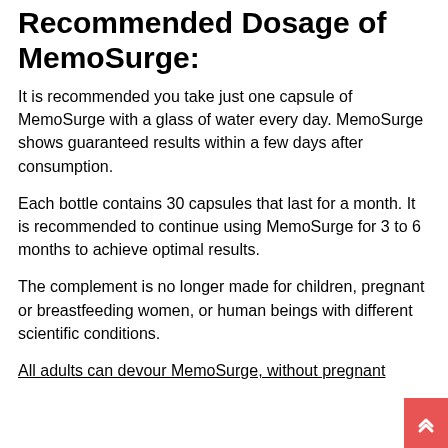Recommended Dosage of MemoSurge:
It is recommended you take just one capsule of MemoSurge with a glass of water every day. MemoSurge shows guaranteed results within a few days after consumption.
Each bottle contains 30 capsules that last for a month. It is recommended to continue using MemoSurge for 3 to 6 months to achieve optimal results.
The complement is no longer made for children, pregnant or breastfeeding women, or human beings with different scientific conditions.
All adults can devour MemoSurge, without pregnant